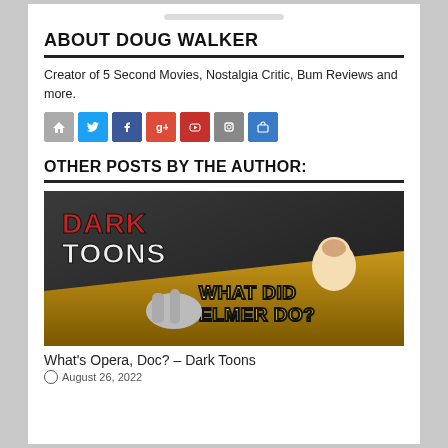ABOUT DOUG WALKER
Creator of 5 Second Movies, Nostalgia Critic, Bum Reviews and more.
[Figure (infographic): Row of social media icon buttons: home (grey), Twitter (blue), Facebook (dark blue), Google+ (red), YouTube (red), camera/Instagram (grey), shopping cart (blue)]
OTHER POSTS BY THE AUTHOR:
[Figure (photo): Thumbnail image for 'Dark Toons' video featuring cartoon characters Bugs Bunny and Elmer Fudd with text 'DARK TOONS' and 'WHAT DID ELMER DO?']
What's Opera, Doc? – Dark Toons
August 26, 2022